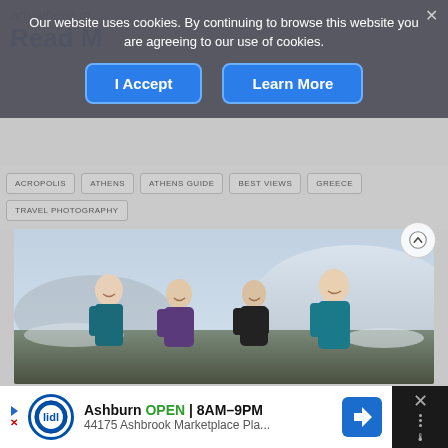anywhere in ...
Read M...
Our website uses cookies. By continuing to browse this website you are agreeing to our use of cookies.
I Accept
Learn More
ACROPOLIS
ATHENS
ATHENS GUIDE
BEST VIEWS
GREECE
TRAVEL PHOTOGRAPHY
[Figure (photo): Four people smiling outdoors in a mountainous snowy landscape, wearing outdoor clothing]
Ashburn  OPEN  8AM–9PM  44175 Ashbrook Marketplace Pla...